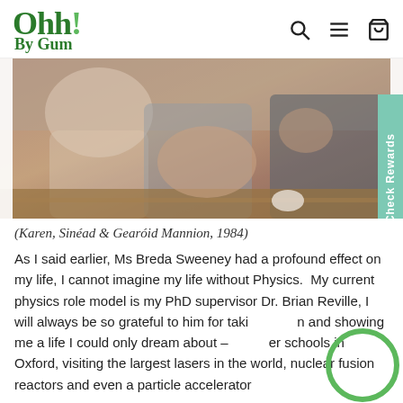Ohh! By Gum
[Figure (photo): A vintage photograph from 1984 showing Karen, Sinéad and Gearóid Mannion sitting together outdoors on what appears to be wooden steps or bleachers.]
(Karen, Sinéad & Gearóid Mannion, 1984)
As I said earlier, Ms Breda Sweeney had a profound effect on my life, I cannot imagine my life without Physics.  My current physics role model is my PhD supervisor Dr. Brian Reville, I will always be so grateful to him for taking me on and showing me a life I could only dream about – summer schools in Oxford, visiting the largest lasers in the world, nuclear fusion reactors and even a particle accelerator